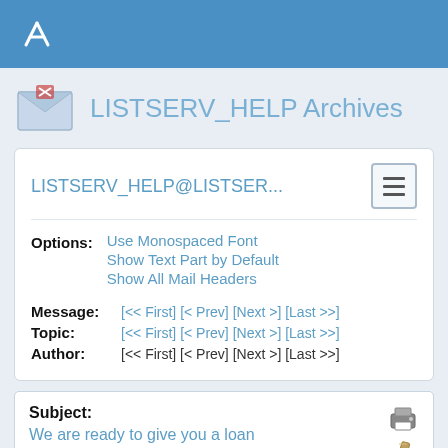LISTSERV_HELP Archives (top bar with logo)
LISTSERV_HELP Archives
LISTSERV_HELP@LISTSER...
Options: Use Monospaced Font | Show Text Part by Default | Show All Mail Headers
Message: [<< First] [< Prev] [Next >] [Last >>]
Topic: [<< First] [< Prev] [Next >] [Last >>]
Author: [<< First] [< Prev] [Next >] [Last >>]
Subject: We are ready to give you a loan
From: evidence <[log in to unmask]>
Reply To: CSUF Help for Listserv <[log in to unmask]>